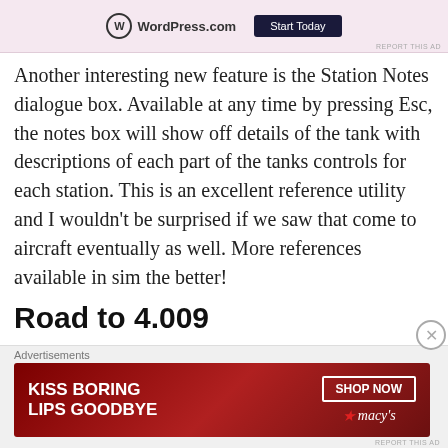[Figure (screenshot): WordPress.com advertisement banner with logo and Start Today button, pink background]
Another interesting new feature is the Station Notes dialogue box. Available at any time by pressing Esc, the notes box will show off details of the tank with descriptions of each part of the tanks controls for each station. This is an excellent reference utility and I wouldn't be surprised if we saw that come to aircraft eventually as well. More references available in sim the better!
Road to 4.009
[Figure (screenshot): Macy's advertisement banner with KISS BORING LIPS GOODBYE text, SHOP NOW button, and macy's star logo on dark red background]